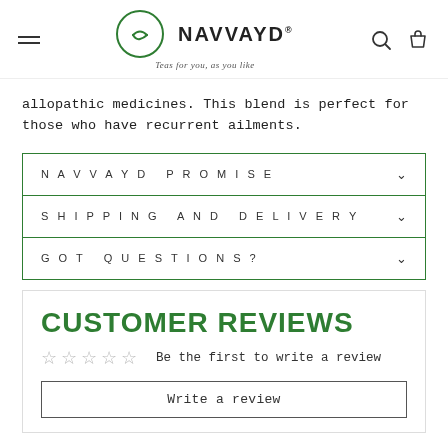NAVVAYD — Teas for you, as you like
allopathic medicines. This blend is perfect for those who have recurrent ailments.
NAVVAYD PROMISE
SHIPPING AND DELIVERY
GOT QUESTIONS?
CUSTOMER REVIEWS
☆☆☆☆☆  Be the first to write a review
Write a review